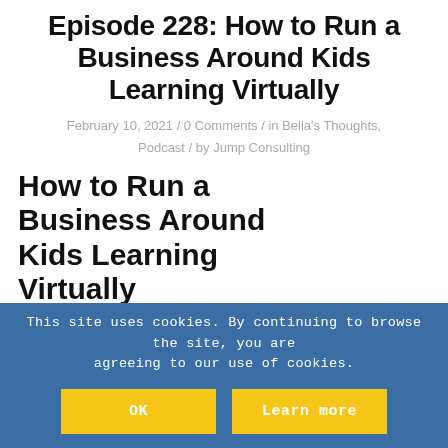Episode 228: How to Run a Business Around Kids Learning Virtually
February 10, 2021 / 0 Comments / in Bella's Thoughts, Podcast / by Jump Consulting
How to Run a Business Around Kids Learning Virtually
This site uses cookies. By continuing to browse the site, you are agreeing to our use of cookies.